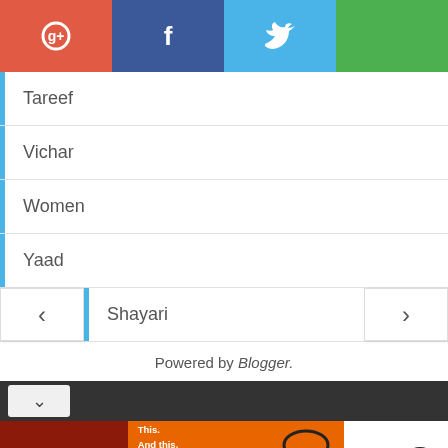[Figure (infographic): Social sharing bar with Google+, Facebook, Twitter, and a green button icons in colored blocks]
Tareef
Vichar
Women
Yaad
Shayari
Powered by Blogger.
[Figure (screenshot): eBay advertisement banner showing products: a power tool at $72.99 and headphones at $299.99]